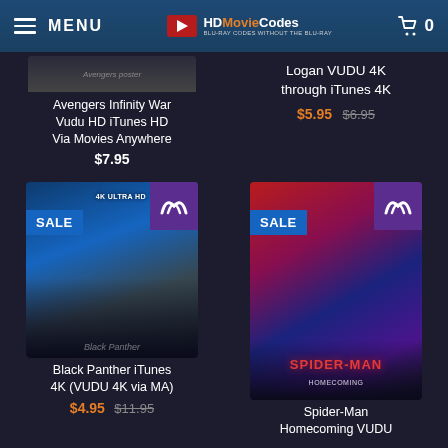MENU | HDMovieCodes | 0
Avengers Infinity War Vudu HD iTunes HD Via Movies Anywhere $7.95
Logan VUDU 4K through iTunes 4K $5.95 $6.95
[Figure (screenshot): Black Panther iTunes 4K (VUDU 4K via MA) movie poster with SALE badge and Movies Anywhere logo. Price: $4.95 (was $11.95)]
Black Panther iTunes 4K (VUDU 4K via MA) $4.95 $11.95
[Figure (screenshot): Spider-Man Homecoming VUDU movie poster with SALE badge and Movies Anywhere logo]
Spider-Man Homecoming VUDU